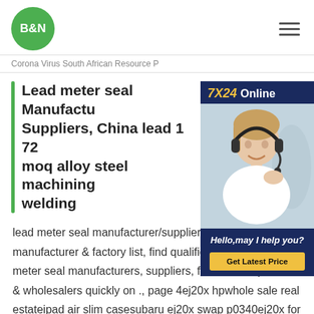[Figure (logo): B&N green circular logo]
Corona Virus South African Resource P
[Figure (infographic): 7X24 Online chat support advertisement with a woman wearing a headset. Text: 7X24 Online, Hello,may I help you?, Get Latest Price]
Lead meter seal Manufacturers, Suppliers, China lead 1 72 moq alloy steel machining welding
lead meter seal manufacturer/supplier, meter seal manufacturer & factory list, find qualified Chinese lead meter seal manufacturers, suppliers, factories, exporters & wholesalers quickly on ., page 4ej20x hpwhole sale real estateipad air slim casesubaru ej20x swap p0340ej20x for saleej20x